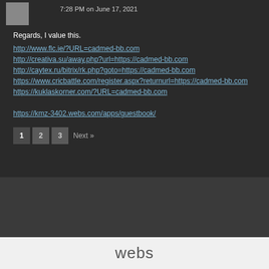7:28 PM on June 17, 2021
Regards, I value this.
http://www.flc.ie/?URL=cadmed-bb.com
http://creativa.su/away.php?url=https://cadmed-bb.com
http://caytex.ru/bitrix/rk.php?goto=https://cadmed-bb.com
https://www.cricbattle.com/register.aspx?returnurl=https://cadmed-bb.com
https://kuklaskorner.com/?URL=cadmed-bb.com
https://kmz-3402.webs.com/apps/guestbook/
1  2  3  Next »
webs